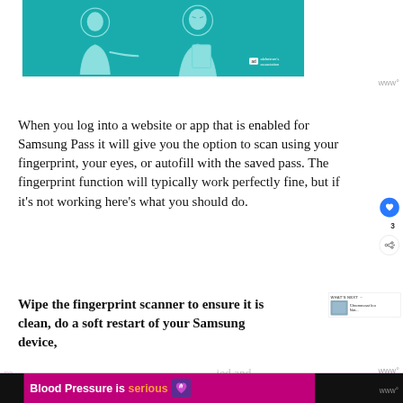[Figure (illustration): Illustration of two people on a teal/turquoise background with an 'ad' label and Alzheimer's Association logo in the bottom right corner]
When you log into a website or app that is enabled for Samsung Pass it will give you the option to scan using your fingerprint, your eyes, or autofill with the saved pass. The fingerprint function will typically work perfectly fine, but if it's not working here's what you should do.
Wipe the fingerprint scanner to ensure it is clean, do a soft restart of your Samsung device,
[Figure (screenshot): Bottom advertisement banner: 'Blood Pressure is serious' with heart emoji icon on pink/magenta background]